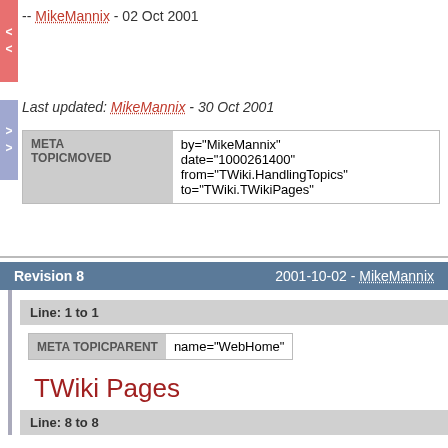-- MikeMannix - 02 Oct 2001
Last updated: MikeMannix - 30 Oct 2001
| META TOPICMOVED |  |
| --- | --- |
|  | by="MikeMannix"
date="1000261400"
from="TWiki.HandlingTopics"
to="TWiki.TWikiPages" |
Revision 8    2001-10-02 - MikeMannix
Line: 1 to 1
| META TOPICPARENT | name="WebHome" |
| --- | --- |
TWiki Pages
Line: 8 to 8